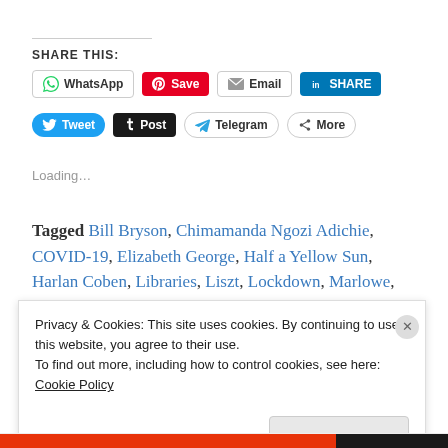SHARE THIS:
[Figure (other): Social share buttons row 1: WhatsApp, Save (Pinterest), Email, LinkedIn SHARE]
[Figure (other): Social share buttons row 2: Tweet, Post (Tumblr), Telegram, More]
Loading…
Tagged Bill Bryson, Chimamanda Ngozi Adichie, COVID-19, Elizabeth George, Half a Yellow Sun, Harlan Coben, Libraries, Liszt, Lockdown, Marlowe,
Privacy & Cookies: This site uses cookies. By continuing to use this website, you agree to their use.
To find out more, including how to control cookies, see here: Cookie Policy
Close and accept